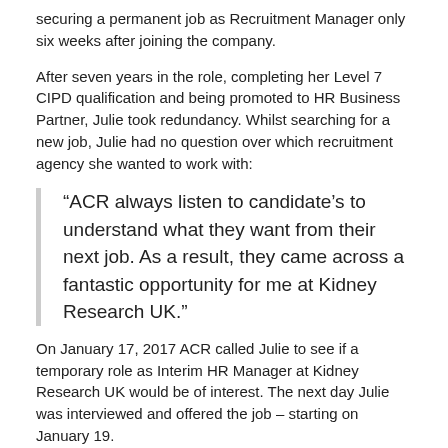securing a permanent job as Recruitment Manager only six weeks after joining the company.
After seven years in the role, completing her Level 7 CIPD qualification and being promoted to HR Business Partner, Julie took redundancy. Whilst searching for a new job, Julie had no question over which recruitment agency she wanted to work with:
“ACR always listen to candidate’s to understand what they want from their next job. As a result, they came across a fantastic opportunity for me at Kidney Research UK.”
On January 17, 2017 ACR called Julie to see if a temporary role as Interim HR Manager at Kidney Research UK would be of interest. The next day Julie was interviewed and offered the job – starting on January 19.
“The Interim HR manager role had everything I was looking for. I wanted a broad HR role, which covered all sorts from payroll, to reviewing benefits and benchmarking salaries as well as...